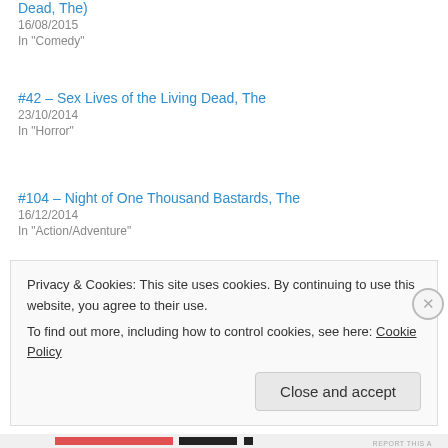Dead, The)
16/08/2015
In "Comedy"
#42 – Sex Lives of the Living Dead, The
23/10/2014
In "Horror"
#104 – Night of One Thousand Bastards, The
16/12/2014
In "Action/Adventure"
29/11/2014
Leave a Reply
Privacy & Cookies: This site uses cookies. By continuing to use this website, you agree to their use.
To find out more, including how to control cookies, see here: Cookie Policy